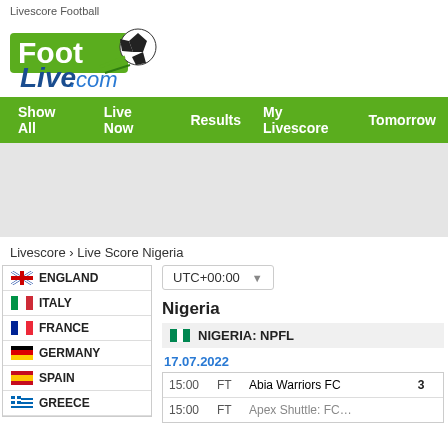Livescore Football
[Figure (logo): FootLive.com logo with soccer ball icon and green background on Foot text]
Show All  Live Now  Results  My Livescore  Tomorrow
[Figure (other): Gray advertisement banner area]
Livescore › Live Score Nigeria
ENGLAND
ITALY
FRANCE
GERMANY
SPAIN
GREECE
UTC+00:00
Nigeria
NIGERIA: NPFL
17.07.2022
| Time | Status | Teams | Score |
| --- | --- | --- | --- |
| 15:00 | FT | Abia Warriors FC | 3 |
| 15:00 | FT |  |  |